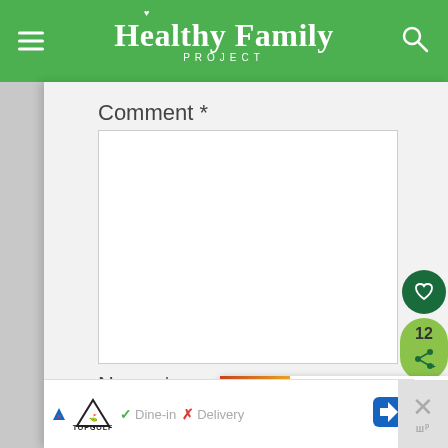Healthy Family PROJECT
Comment *
[Figure (screenshot): Empty comment textarea input box with border]
Name *
[Figure (screenshot): Empty name input field with border]
[Figure (infographic): WHAT'S NEXT → Tangy Grilled Chicken &... promotional banner with food image]
[Figure (infographic): Advertisement bar with Topgolf ad, Dine-in checkmark, Delivery X mark, navigation arrow icon, and close button]